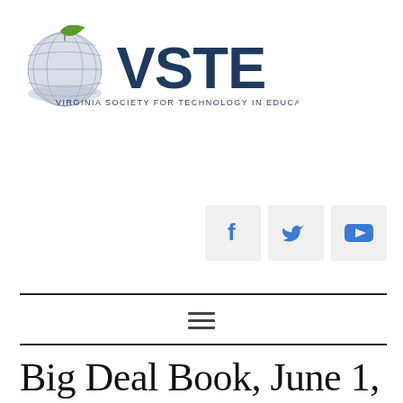[Figure (logo): VSTE - Virginia Society for Technology in Education logo with globe and green leaf icon]
[Figure (infographic): Social media icons row: Facebook (f), Twitter (bird), YouTube (play button) on light gray square backgrounds]
Big Deal Book, June 1,